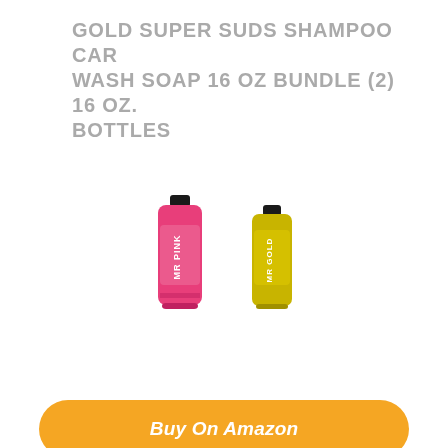GOLD SUPER SUDS SHAMPOO CAR WASH SOAP 16 OZ BUNDLE (2) 16 OZ. BOTTLES
[Figure (photo): Two car wash soap bottles: one pink labeled MR PINK and one gold/yellow labeled MR GOLD]
Buy On Amazon
Features:
Perfect wash for weekly maintenance
Excellent for two-bucket wash or foam gun
Maintain your ride with a gentle, weekly wash
Restore the high gloss shine to your daily